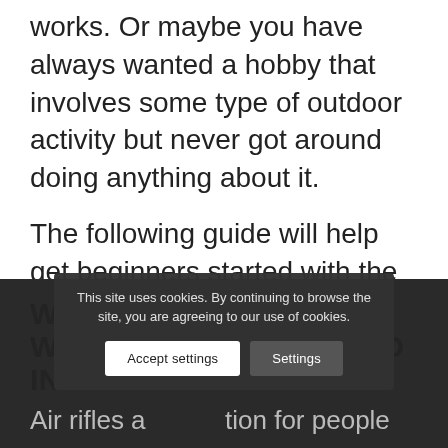works. Or maybe you have always wanted a hobby that involves some type of outdoor activity but never got around doing anything about it.
The following guide will help get beginners started with the basics so their first experience can be fun (and educational)!
WHAT ARE THE BEST WAYS TO GET INVOLVED IN SHOOTING SPORTS?
Air rifles are a popular option for people
This site uses cookies. By continuing to browse the site, you are agreeing to our use of cookies.